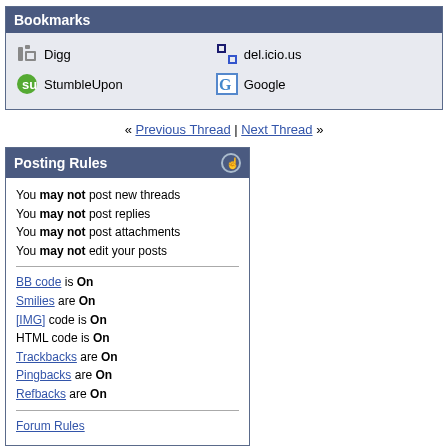Bookmarks
Digg
del.icio.us
StumbleUpon
Google
« Previous Thread | Next Thread »
Posting Rules
You may not post new threads
You may not post replies
You may not post attachments
You may not edit your posts
BB code is On
Smilies are On
[IMG] code is On
HTML code is On
Trackbacks are On
Pingbacks are On
Refbacks are On
Forum Rules
All times are GMT -5. The time now is 04:58am.
The Official Forum - Archive - Top
Search Engine Friendly URLs by 3.3.0 RC1